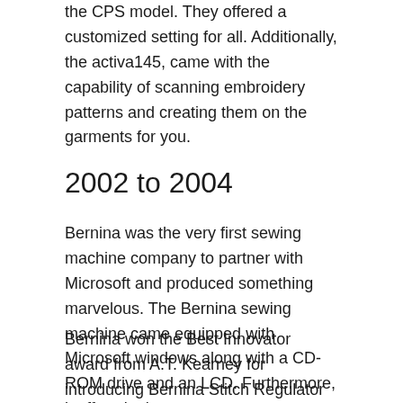the CPS model. They offered a customized setting for all. Additionally, the activa145, came with the capability of scanning embroidery patterns and creating them on the garments for you.
2002 to 2004
Bernina was the very first sewing machine company to partner with Microsoft and produced something marvelous. The Bernina sewing machine came equipped with Microsoft windows along with a CD-ROM drive and an LCD. Furthermore, it offered a large memory to remember and retain various embroidery and stitch patterns.
Bernina won the Best Innovator award from A.T. Kearney for introducing Bernina Stitch Regulator